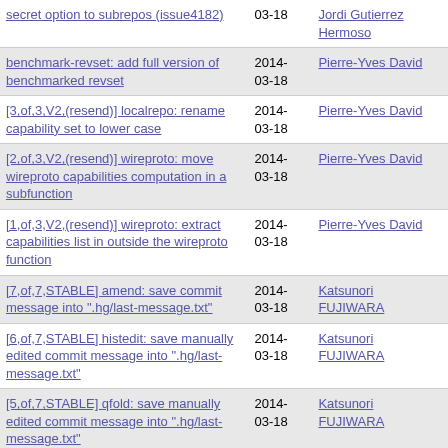| Subject | Date | Author |
| --- | --- | --- |
| secret option to subrepos (issue4182) | 03-18 | Jordi Gutierrez Hermoso |
| benchmark-revset: add full version of benchmarked revset | 2014-03-18 | Pierre-Yves David |
| [3,of,3,V2,(resend)] localrepo: rename capability set to lower case | 2014-03-18 | Pierre-Yves David |
| [2,of,3,V2,(resend)] wireproto: move wireproto capabilities computation in a subfunction | 2014-03-18 | Pierre-Yves David |
| [1,of,3,V2,(resend)] wireproto: extract capabilities list in outside the wireproto function | 2014-03-18 | Pierre-Yves David |
| [7,of,7,STABLE] amend: save commit message into ".hg/last-message.txt" | 2014-03-18 | Katsunori FUJIWARA |
| [6,of,7,STABLE] histedit: save manually edited commit message into ".hg/last-message.txt" | 2014-03-18 | Katsunori FUJIWARA |
| [5,of,7,STABLE] qfold: save manually edited commit message into ".hg/last-message.txt" | 2014-03-18 | Katsunori FUJIWARA |
| [4,of,7,STABLE] qnew: save manually edited commit message into ... | 2014-03-18 | Katsunori FUJIWARA |